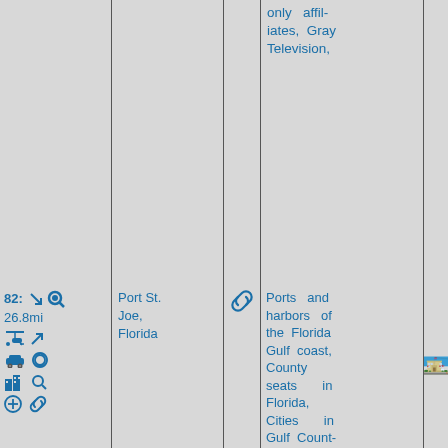only affiliates, Gray Television,
82: 26.8mi
Port St. Joe, Florida
Ports and harbors of the Florida Gulf coast, County seats in Florida, Cities in Gulf County, Florida, Cities in Florida, Populated coastal places in
[Figure (photo): Photo of Port St. Joe, Florida city building — a light yellow/tan government building with red, white and blue bunting decorations, American flag, under bright blue sky]